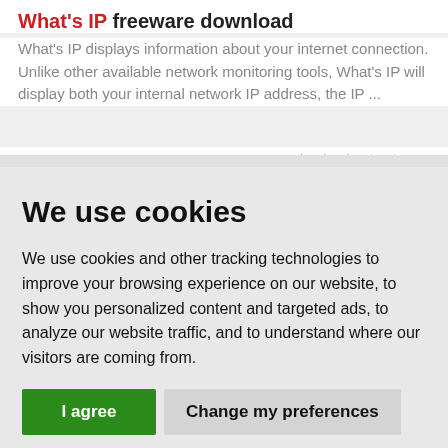What's IP freeware download
What's IP displays information about your internet connection. Unlike other available network monitoring tools, What's IP will display both your internal network IP address, the IP ...
We use cookies
We use cookies and other tracking technologies to improve your browsing experience on our website, to show you personalized content and targeted ads, to analyze our website traffic, and to understand where our visitors are coming from.
I agree | Change my preferences